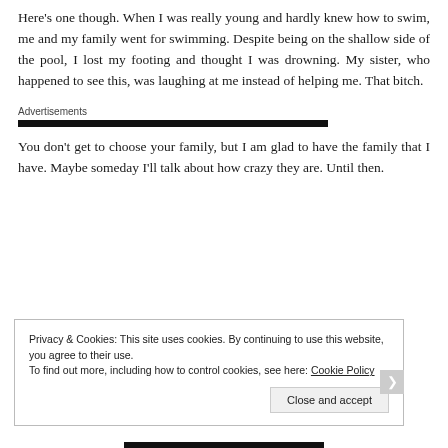Here's one though. When I was really young and hardly knew how to swim, me and my family went for swimming. Despite being on the shallow side of the pool, I lost my footing and thought I was drowning. My sister, who happened to see this, was laughing at me instead of helping me. That bitch.
Advertisements
You don't get to choose your family, but I am glad to have the family that I have. Maybe someday I'll talk about how crazy they are. Until then.
Privacy & Cookies: This site uses cookies. By continuing to use this website, you agree to their use.
To find out more, including how to control cookies, see here: Cookie Policy
Close and accept